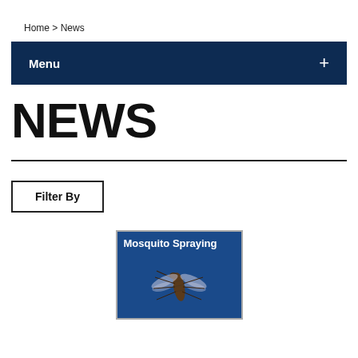Home > News
Menu +
NEWS
Filter By
[Figure (photo): Mosquito Spraying card with blue background and mosquito image]